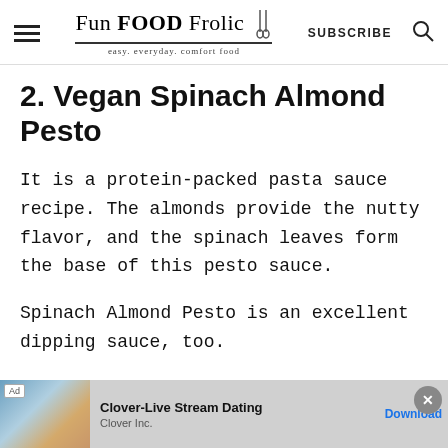Fun FOOD Frolic — easy. everyday. comfort food — SUBSCRIBE
2. Vegan Spinach Almond Pesto
It is a protein-packed pasta sauce recipe. The almonds provide the nutty flavor, and the spinach leaves form the base of this pesto sauce.
Spinach Almond Pesto is an excellent dipping sauce, too.
[Figure (screenshot): Ad banner: Clover-Live Stream Dating, Clover Inc., Download button]